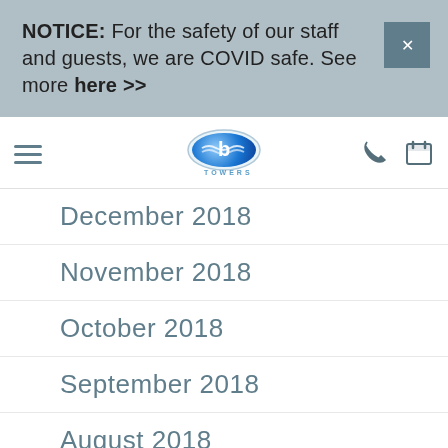NOTICE: For the safety of our staff and guests, we are COVID safe. See more here >>
[Figure (screenshot): Website navigation bar with hamburger menu, Towers logo (oval blue-gradient logo with wave lines), phone icon, and calendar icon]
December 2018
November 2018
October 2018
September 2018
August 2018
July 2018